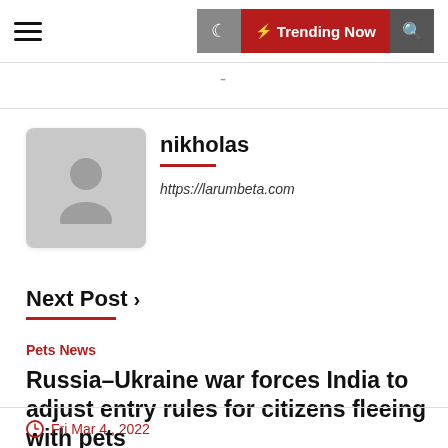≡  ☽  ⚡ Trending Now  🔍
[Figure (illustration): Gray placeholder avatar silhouette in a rounded square]
nikholas
https://larumbeta.com
Next Post ›
Pets News
Russia–Ukraine war forces India to adjust entry rules for citizens fleeing with pets
Fri Mar 4 , 2022